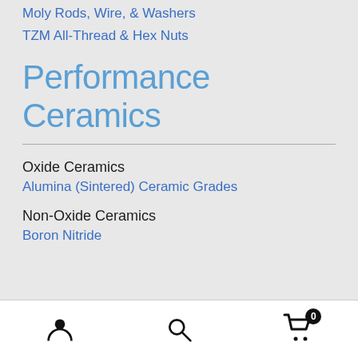Moly Rods, Wire, & Washers
TZM All-Thread & Hex Nuts
Performance Ceramics
Oxide Ceramics
Alumina (Sintered) Ceramic Grades
Non-Oxide Ceramics
Boron Nitride
Navigation bar with user, search, and cart (0) icons